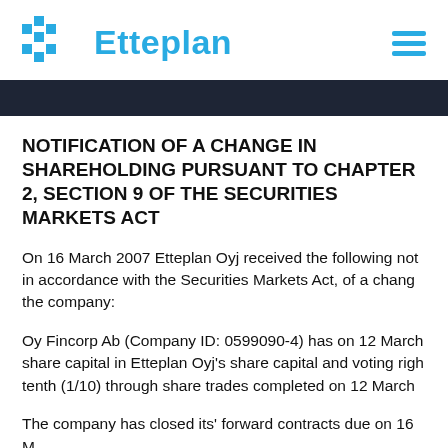Etteplan
NOTIFICATION OF A CHANGE IN SHAREHOLDING PURSUANT TO CHAPTER 2, SECTION 9 OF THE SECURITIES MARKETS ACT
On 16 March 2007 Etteplan Oyj received the following not in accordance with the Securities Markets Act, of a chang the company:
Oy Fincorp Ab (Company ID: 0599090-4) has on 12 March share capital in Etteplan Oyj's share capital and voting righ tenth (1/10) through share trades completed on 12 March
The company has closed its' forward contracts due on 16 M